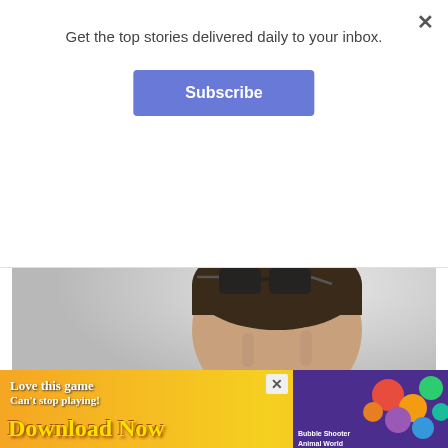Get the top stories delivered daily to your inbox.
Subscribe
Reverse Macular Degeneration (See How).
Macular Degeneration | Sponsored
[Figure (photo): Man rubbing his eyes with both fists, glasses pushed up on forehead, on grey background]
[Figure (infographic): Mobile game advertisement banner: 'Love this game Can't stop playing! Download Now' with colorful game graphics and 'Bubble Shooter Animal World' text on right side]